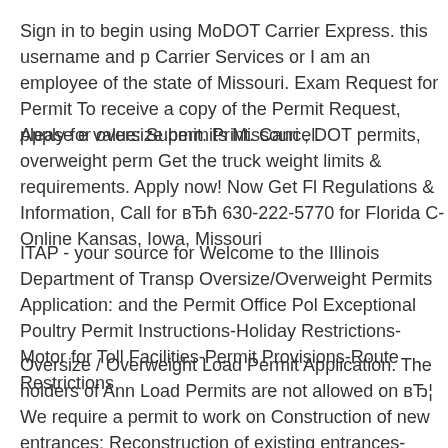Sign in to begin using MoDOT Carrier Express. this username and pa Carrier Services or I am an employee of the state of Missouri. Exam Request for Permit To receive a copy of the Permit Request, please e value: Submit. Print. Cancel.
Apply for oversize permits Missouri , DOT permits, overweight perm Get the truck weight limits & requirements. Apply now! Now Get Fl Regulations & Information, Call for вЂћ 630-222-5770 for Florida C Online Kansas, Iowa, Missouri
ITAP - your source for Welcome to the Illinois Department of Transp Oversize/Overweight Permits Application: and the Permit Office Pol Exceptional Poultry Permit Instructions-Holiday Restrictions-Motor for Toll Facilities-Permit Provisions-Route Restrictions
Oversize / Overweight Load Permit Application. The holders of Ann Load Permits are not allowed on вЂ¦ We require a permit to work on Construction of new entrances; Reconstruction of existing entrances location, etc).